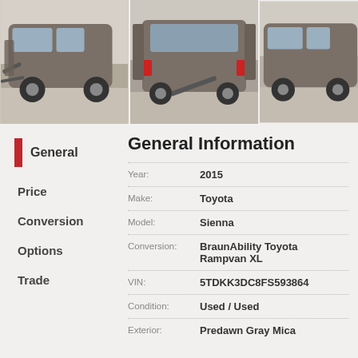[Figure (photo): Three photos of a gray Toyota Sienna wheelchair conversion van with ramp deployed, showing front-left angle, rear with ramp and open doors, and side view.]
General
Price
Conversion
Options
Trade
General Information
| Field | Value |
| --- | --- |
| Year: | 2015 |
| Make: | Toyota |
| Model: | Sienna |
| Conversion: | BraunAbility Toyota Rampvan XL |
| VIN: | 5TDKK3DC8FS593864 |
| Condition: | Used / Used |
| Exterior: | Predawn Gray Mica |